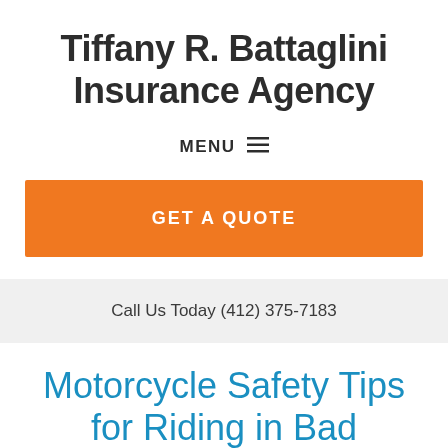Tiffany R. Battaglini Insurance Agency
MENU ☰
GET A QUOTE
Call Us Today (412) 375-7183
Motorcycle Safety Tips for Riding in Bad